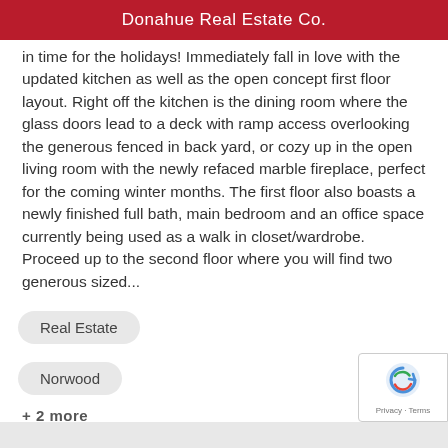Donahue Real Estate Co.
in time for the holidays! Immediately fall in love with the updated kitchen as well as the open concept first floor layout. Right off the kitchen is the dining room where the glass doors lead to a deck with ramp access overlooking the generous fenced in back yard, or cozy up in the open living room with the newly refaced marble fireplace, perfect for the coming winter months. The first floor also boasts a newly finished full bath, main bedroom and an office space currently being used as a walk in closet/wardrobe. Proceed up to the second floor where you will find two generous sized...
Real Estate
Norwood
+ 2 more